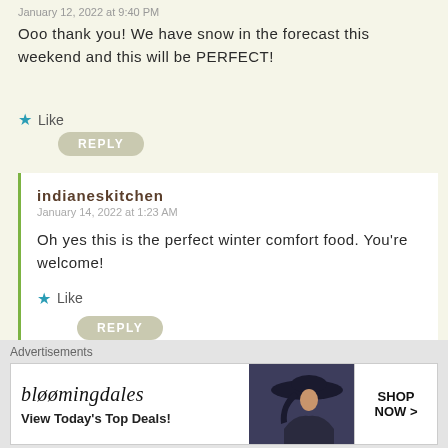January 12, 2022 at 9:40 PM
Ooo thank you! We have snow in the forecast this weekend and this will be PERFECT!
★ Like
REPLY
indianeskitchen
January 14, 2022 at 1:23 AM
Oh yes this is the perfect winter comfort food. You're welcome!
★ Like
REPLY
[Figure (screenshot): Bloomingdale's advertisement banner with woman in wide-brim hat, text: View Today's Top Deals!, SHOP NOW >]
Advertisements